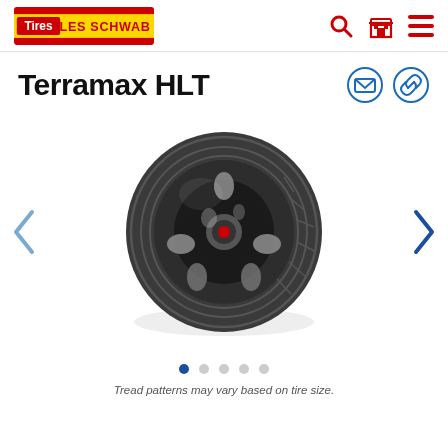Les Schwab Tires - navigation header with logo, search, store, and menu icons
Terramax HLT
[Figure (photo): A Terramax HLT tire mounted on a black chrome alloy wheel, shown at an angle against a white background. The tire shows a highway-terrain tread pattern with longitudinal grooves and lateral sipes.]
Tread patterns may vary based on tire size.